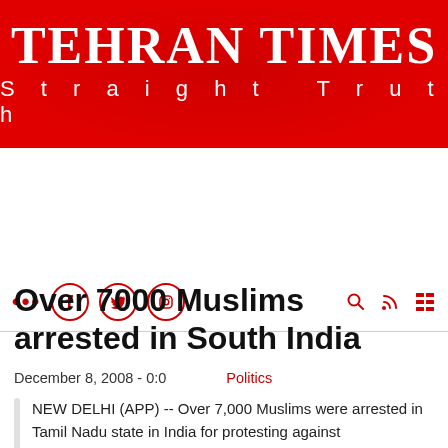[Figure (logo): Tehran Times header banner with red background, white text reading 'TEHRAN TIMES' and 'Straight Truth']
TEHRAN TIMES
Straight Truth
[Figure (infographic): Navigation bar with red social media icons (dots, Facebook, Twitter, Instagram) on left and search, RSS, grid icons on right]
Over 7000 Muslims arrested in South India
December 8, 2008 - 0:0    Politics
NEW DELHI (APP) -- Over 7,000 Muslims were arrested in Tamil Nadu state in India for protesting against